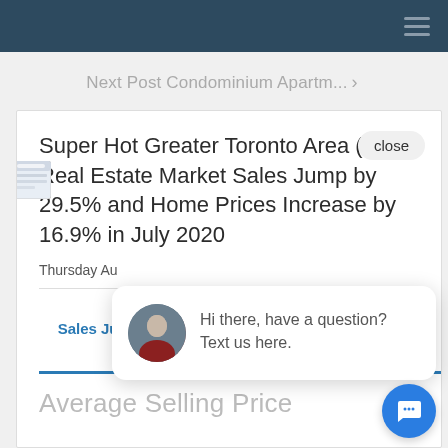Navigation bar with hamburger menu
Next Post Condominium Apartm... >
Super Hot Greater Toronto Area (GTA) Real Estate Market Sales Jump by 29.5% and Home Prices Increase by 16.9% in July 2020
Thursday Au
Super Hot Grea... Sales Jump by 29.5% and Home Prices Increase by 16.9% in July 2020
Hi there, have a question? Text us here.
Average Selling Price